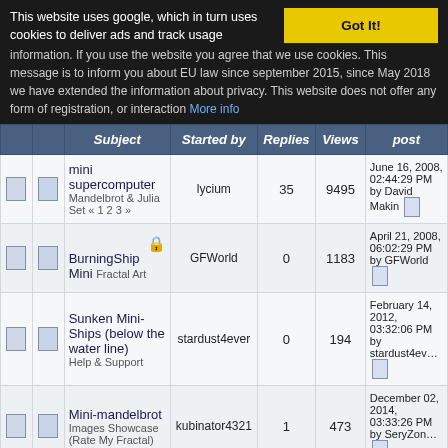This website uses google, which in turn uses cookies to deliver ads and track usage information. If you use the website you agree that we use cookies. This message is to inform you about EU law since september 2015, since May 2018 we have extended the information about privacy. This website does not offer any form of registration, or interaction More info
|  |  | Subject | Started by | Replies | Views | post |
| --- | --- | --- | --- | --- | --- | --- |
|  |  | mini supercomputer
Mandelbrot & Julia Set « 1 2 3 » | lycium | 35 | 9495 | June 16, 2008, 02:44:29 PM
by David Makin |
|  |  | BurningShip Mini Fractal Art | GFWorld | 0 | 1183 | April 21, 2008, 06:02:29 PM
by GFWorld |
|  |  | Sunken Mini-Ships (below the water line)
Help & Support | stardust4ever | 0 | 194 | February 14, 2012, 03:32:06 PM
by stardust4ever |
|  |  | Mini-mandelbrot
Images Showcase (Rate My Fractal) | kubinator4321 | 1 | 473 | December 02, 2014, 03:33:26 PM
by SeryZone |
|  |  | gallery #7 - Evoke 2014 - Spack-O-Mat |  |  |  | February 15, 2015 |